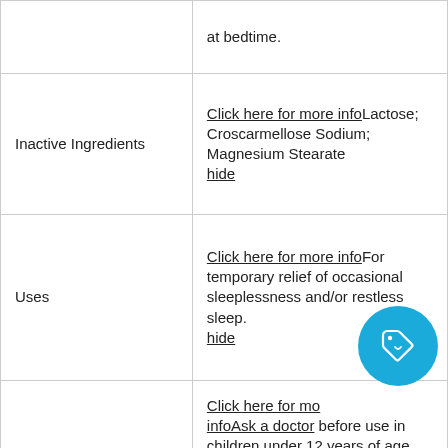| Field | Value |
| --- | --- |
|  | at bedtime. |
| Inactive Ingredients | Click here for more infoLactose; Croscarmellose Sodium; Magnesium Stearate
hide |
| Uses | Click here for more infoFor temporary relief of occasional sleeplessness and/or restless sleep.
hide |
|  | Click here for more infoAsk a doctor before use in children under 12 years of age. Stop using this product and consult a doctor if symptoms persist |